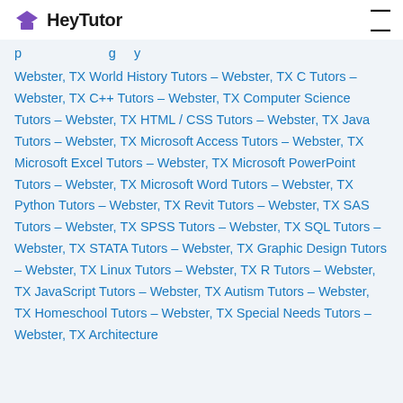HeyTutor
Webster, TX World History Tutors – Webster, TX C Tutors – Webster, TX C++ Tutors – Webster, TX Computer Science Tutors – Webster, TX HTML / CSS Tutors – Webster, TX Java Tutors – Webster, TX Microsoft Access Tutors – Webster, TX Microsoft Excel Tutors – Webster, TX Microsoft PowerPoint Tutors – Webster, TX Microsoft Word Tutors – Webster, TX Python Tutors – Webster, TX Revit Tutors – Webster, TX SAS Tutors – Webster, TX SPSS Tutors – Webster, TX SQL Tutors – Webster, TX STATA Tutors – Webster, TX Graphic Design Tutors – Webster, TX Linux Tutors – Webster, TX R Tutors – Webster, TX JavaScript Tutors – Webster, TX Autism Tutors – Webster, TX Homeschool Tutors – Webster, TX Special Needs Tutors – Webster, TX Architecture